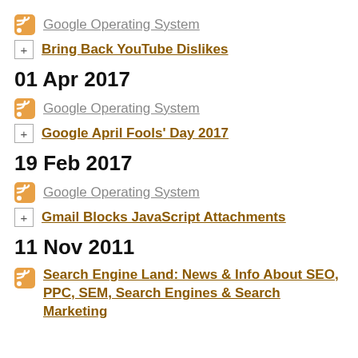Google Operating System
Bring Back YouTube Dislikes
01 Apr 2017
Google Operating System
Google April Fools' Day 2017
19 Feb 2017
Google Operating System
Gmail Blocks JavaScript Attachments
11 Nov 2011
Search Engine Land: News & Info About SEO, PPC, SEM, Search Engines & Search Marketing